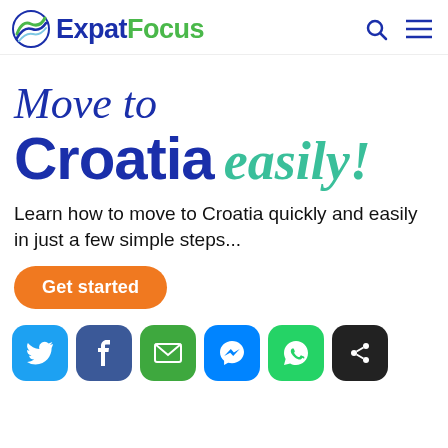ExpatFocus
Move to Croatia easily!
Learn how to move to Croatia quickly and easily in just a few simple steps...
Get started
[Figure (infographic): Social share buttons: Twitter, Facebook, Email, Messenger, WhatsApp, Share]